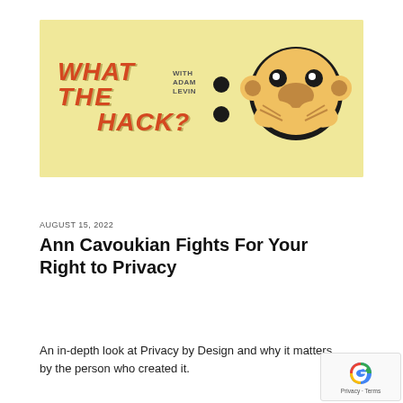[Figure (illustration): What The Hack podcast banner with Adam Levin branding on a yellow/cream background. Left side shows stylized 3D block text reading 'WHAT THE HACK?' in orange/red with gray outlines, with 'WITH ADAM LEVIN' in small text above. Center shows two large black dots (colon). Right side shows a cartoon monkey with hands over its mouth (speak-no-evil emoji style), in black on the yellow background.]
AUGUST 15, 2022
Ann Cavoukian Fights For Your Right to Privacy
An in-depth look at Privacy by Design and why it matters by the person who created it.